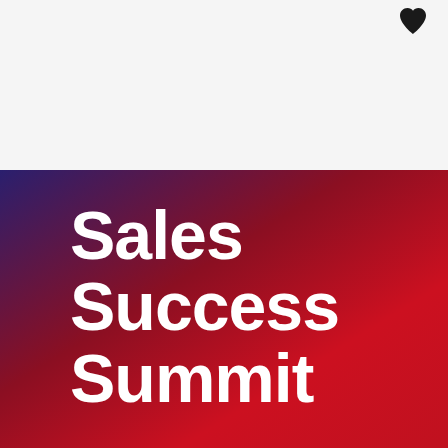[Figure (logo): Dark heart/location pin icon in top right corner on light grey background]
Sales Success Summit